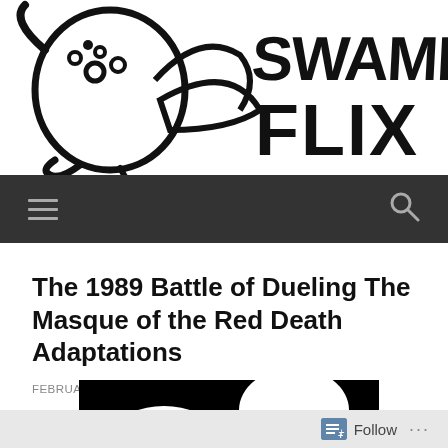[Figure (logo): Swamp Flix website logo with hand-drawn monster creature illustration and bold handwritten 'SWAMP FLIX' text]
[Figure (other): Dark navigation bar with hamburger menu icon on left and search magnifying glass icon on right]
The 1989 Battle of Dueling The Masque of the Red Death Adaptations
FEBRUARY 12, 2015 / SWAMPFLIX
[Figure (photo): Black and white movie still with white silhouette figures against dark background]
Follow ...